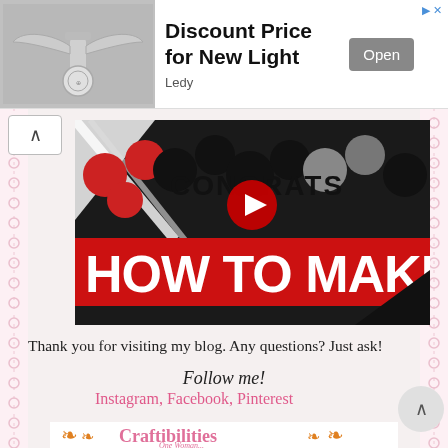[Figure (infographic): Ad banner with image of a decorative light fixture with wings, text 'Discount Price for New Light', source 'Ledy', and an 'Open' button]
[Figure (screenshot): YouTube video thumbnail showing balloons and text 'HOW TO MAKE' in bold white letters on red background with 'CONGRATS' text in black balloons]
Thank you for visiting my blog. Any questions? Just ask!
Follow me!
Instagram, Facebook, Pinterest
[Figure (logo): Craftibilities blog logo with orange floral scroll decorations and pink text 'Craftibilities' with 'One Woman...' subtext]